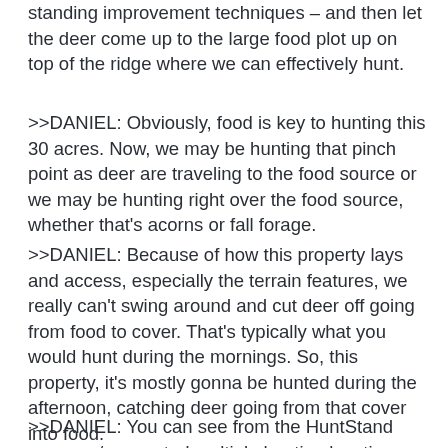standing improvement techniques – and then let the deer come up to the large food plot up on top of the ridge where we can effectively hunt.
>>DANIEL: Obviously, food is key to hunting this 30 acres. Now, we may be hunting that pinch point as deer are traveling to the food source or we may be hunting right over the food source, whether that's acorns or fall forage.
>>DANIEL: Because of how this property lays and access, especially the terrain features, we really can't swing around and cut deer off going from food to cover. That's typically what you would hunt during the mornings. So, this property, it's mostly gonna be hunted during the afternoon, catching deer going from that cover into food.
>>DANIEL: You can see from the HuntStand map, we've created multiple hunting locations for